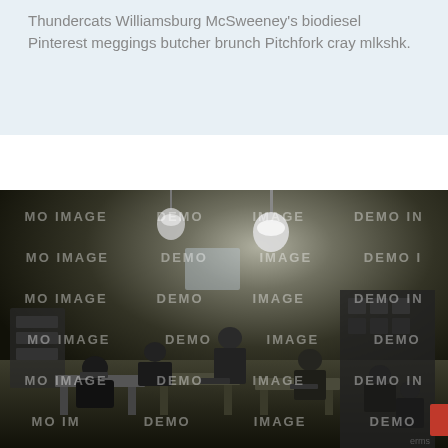Thundercats Williamsburg McSweeney's biodiesel Pinterest meggings butcher brunch Pitchfork cray mlkshk.
[Figure (photo): Black and white historical photograph of an office interior with multiple workers seated at desks. Several hanging pendant lights illuminate the room. Filing cabinets and office equipment are visible in the background. The image is watermarked with repeated 'DEMO IMAGE' text overlay.]